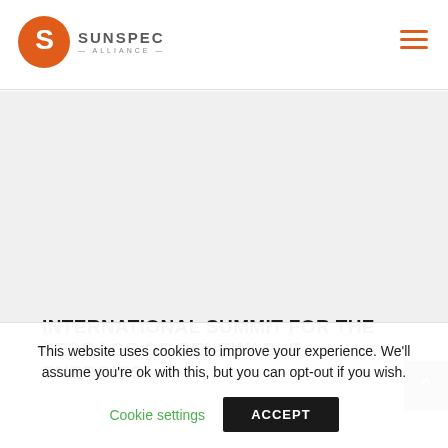SunSpec Alliance
INTERNATIONAL SUMMIT FOR THE STORAGE OF RENEWABLE ENERGIES –
This website uses cookies to improve your experience. We'll assume you're ok with this, but you can opt-out if you wish.
Cookie settings   ACCEPT